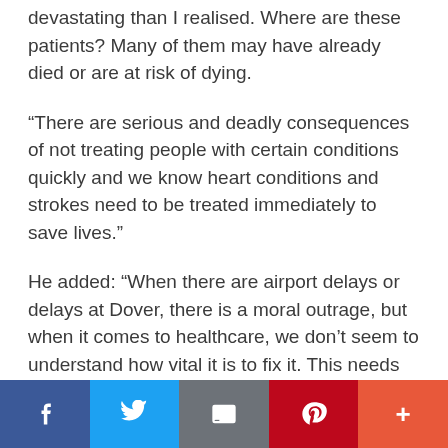devastating than I realised. Where are these patients? Many of them may have already died or are at risk of dying.
“There are serious and deadly consequences of not treating people with certain conditions quickly and we know heart conditions and strokes need to be treated immediately to save lives.”
He added: “When there are airport delays or delays at Dover, there is a moral outrage, but when it comes to healthcare, we don’t seem to understand how vital it is to fix it. This needs to be sorted now.”
Social share bar: Facebook, Twitter, Email, Pinterest, Plus